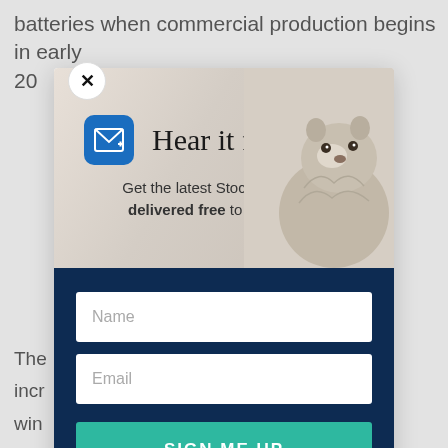batteries when commercial production begins in early 20...
[Figure (screenshot): Email newsletter signup popup modal for Stockhead. Contains a mail icon, marmot photo background, title 'Hear it first', subtitle 'Get the latest Stockhead news delivered free to your inbox.', Name field, Email field, and SIGN ME UP button. A close (X) button is in the top-left corner.]
The... incr... win...